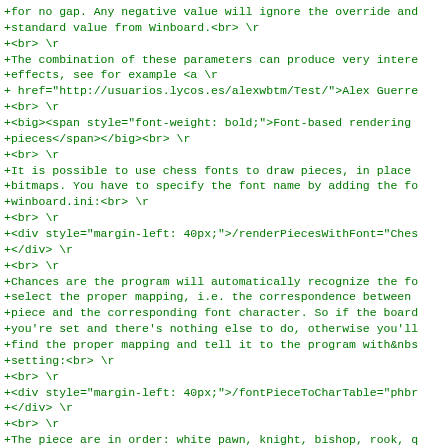Code/diff view showing HTML source with \r markers — WinBoard chess font rendering documentation patch